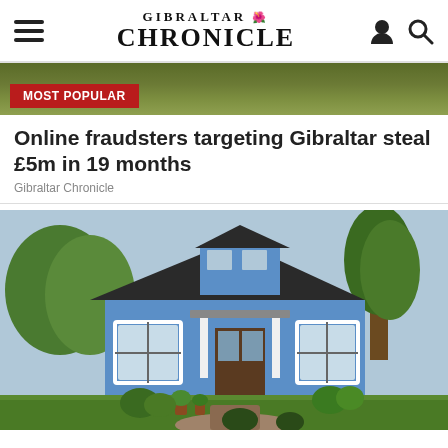GIBRALTAR CHRONICLE
[Figure (photo): Background nature/hedge photo at the top of the article page, partially visible]
MOST POPULAR
Online fraudsters targeting Gibraltar steal £5m in 19 months
Gibraltar Chronicle
[Figure (photo): A small blue house with white trim, front porch with columns, surrounded by green lawn and garden plants, trees in background]